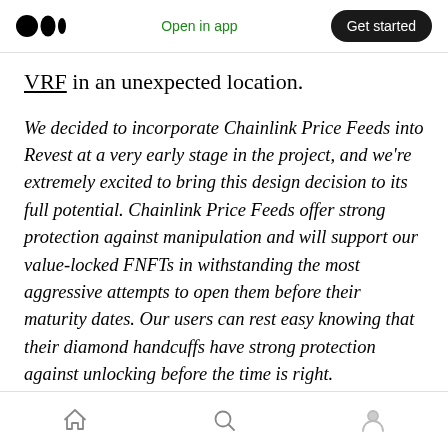Open in app | Get started
VRF in an unexpected location.
We decided to incorporate Chainlink Price Feeds into Revest at a very early stage in the project, and we're extremely excited to bring this design decision to its full potential. Chainlink Price Feeds offer strong protection against manipulation and will support our value-locked FNFTs in withstanding the most aggressive attempts to open them before their maturity dates. Our users can rest easy knowing that their diamond handcuffs have strong protection against unlocking before the time is right.
Home | Search | Profile